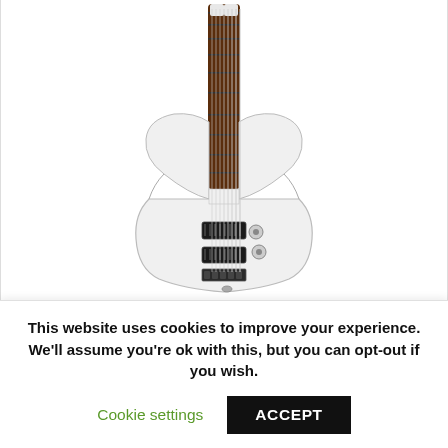[Figure (photo): A white Schecter OMEN-8 electric guitar with a dark rosewood fretboard, two black humbucker pickups, and chrome hardware, photographed against a white background.]
Schecter OMEN-8 surely delivers that vintage vibes. It is
This website uses cookies to improve your experience. We'll assume you're ok with this, but you can opt-out if you wish.
Cookie settings
ACCEPT